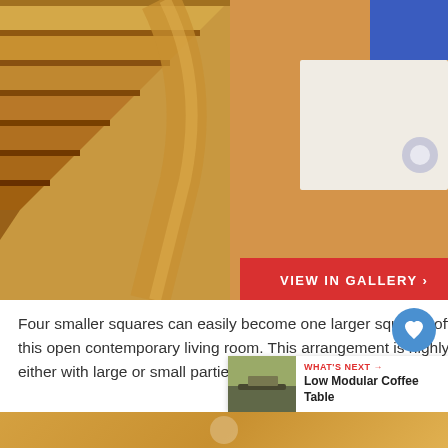[Figure (photo): Overhead view of curved wooden staircase with light tan/beige carpeted steps, blue seating visible at top right, hardwood floor, white furniture, and chrome fixture]
Four smaller squares can easily become one larger square coffee table, as is the case in this open contemporary living room. This arrangement is highly versatile for entertaining, either with large or small parties.
[Figure (photo): What's Next thumbnail showing Low Modular Coffee Table]